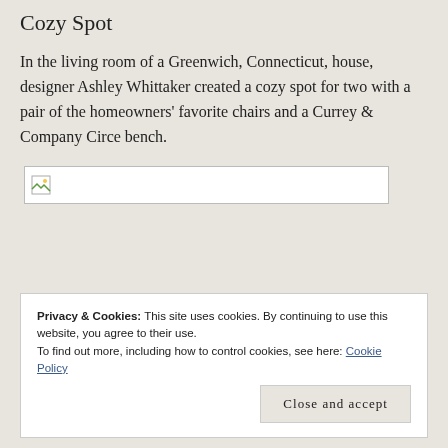Cozy Spot
In the living room of a Greenwich, Connecticut, house, designer Ashley Whittaker created a cozy spot for two with a pair of the homeowners' favorite chairs and a Currey & Company Circe bench.
[Figure (photo): Broken/loading image placeholder rectangle]
Privacy & Cookies: This site uses cookies. By continuing to use this website, you agree to their use.
To find out more, including how to control cookies, see here: Cookie Policy
Close and accept